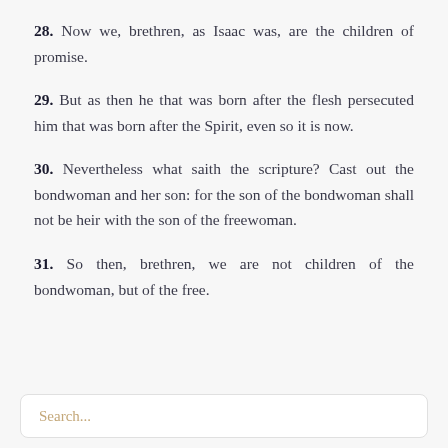28. Now we, brethren, as Isaac was, are the children of promise.
29. But as then he that was born after the flesh persecuted him that was born after the Spirit, even so it is now.
30. Nevertheless what saith the scripture? Cast out the bondwoman and her son: for the son of the bondwoman shall not be heir with the son of the freewoman.
31. So then, brethren, we are not children of the bondwoman, but of the free.
Search...